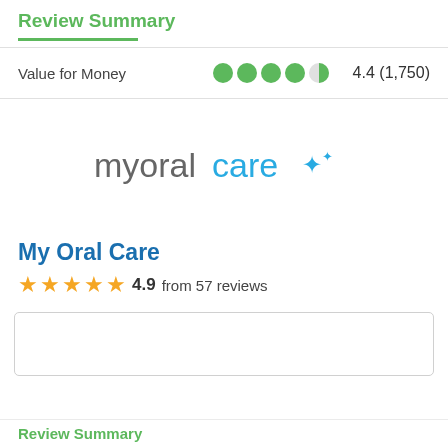Review Summary
Value for Money   4.4 (1,750)
[Figure (logo): myoralcare logo with sparkle icon in teal/blue color]
My Oral Care
4.9 from 57 reviews
Review Summary